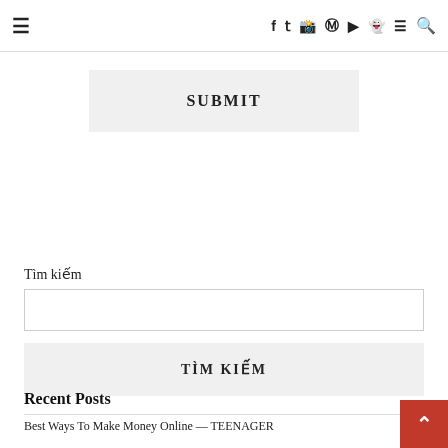☰  f  𝕏  ✦  ⊕  ▶  👻  ≡  🔍
SUBMIT
Tìm kiếm
TÌM KIẾM
Recent Posts
Best Ways To Make Money Online — TEENAGER